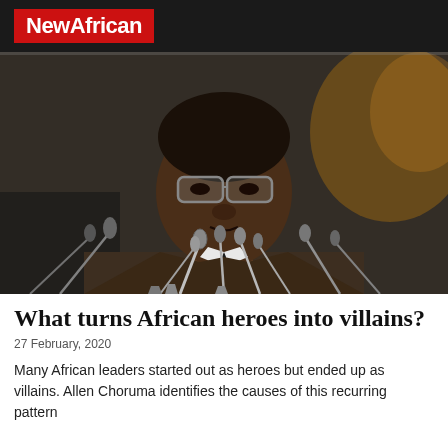NewAfrican
[Figure (photo): Black and white photograph of an African leader wearing glasses and a suit, speaking at a press conference with multiple microphones in front of him.]
What turns African heroes into villains?
27 February, 2020
Many African leaders started out as heroes but ended up as villains. Allen Choruma identifies the causes of this recurring pattern